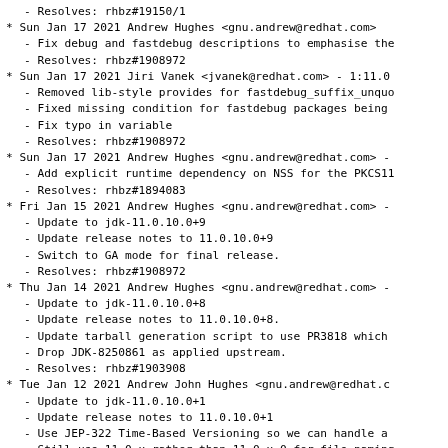- Resolves: rhbz#19150/1
* Sun Jan 17 2021 Andrew Hughes <gnu.andrew@redhat.com>
- Fix debug and fastdebug descriptions to emphasise the
- Resolves: rhbz#1908972
* Sun Jan 17 2021 Jiri Vanek <jvanek@redhat.com> - 1:11.0
- Removed lib-style provides for fastdebug_suffix_unquo
- Fixed missing condition for fastdebug packages being
- Fix typo in variable
- Resolves: rhbz#1908972
* Sun Jan 17 2021 Andrew Hughes <gnu.andrew@redhat.com> -
- Add explicit runtime dependency on NSS for the PKCS11
- Resolves: rhbz#1894083
* Fri Jan 15 2021 Andrew Hughes <gnu.andrew@redhat.com> -
- Update to jdk-11.0.10.0+9
- Update release notes to 11.0.10.0+9
- Switch to GA mode for final release.
- Resolves: rhbz#1908972
* Thu Jan 14 2021 Andrew Hughes <gnu.andrew@redhat.com> -
- Update to jdk-11.0.10.0+8
- Update release notes to 11.0.10.0+8.
- Update tarball generation script to use PR3818 which
- Drop JDK-8250861 as applied upstream.
- Resolves: rhbz#1903908
* Tue Jan 12 2021 Andrew John Hughes <gnu.andrew@redhat.c
- Update to jdk-11.0.10.0+1
- Update release notes to 11.0.10.0+1
- Use JEP-322 Time-Based Versioning so we can handle a
- Still use 11.0.x rather than 11.0.x.0 for file naming
- Revert configure and built_doc_archive hacks to build
- Cleanup debug package descriptions and version number